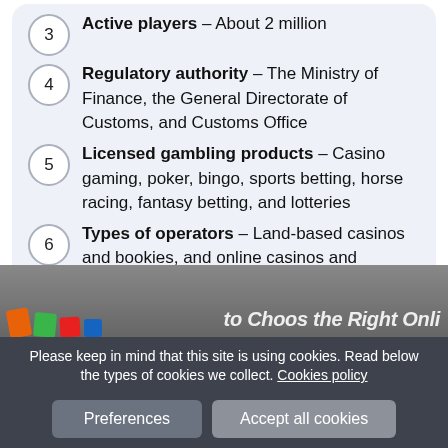3 Active players – About 2 million
4 Regulatory authority – The Ministry of Finance, the General Directorate of Customs, and Customs Office
5 Licensed gambling products – Casino gaming, poker, bingo, sports betting, horse racing, fantasy betting, and lotteries
6 Types of operators – Land-based casinos and bookies, and online casinos and bookies
[Figure (illustration): Partial view of a website section header with colorful ticket icons and partial heading text visible]
Please keep in mind that this site is using cookies. Read below the types of cookies we collect. Cookies policy
Preferences   Accept all cookies